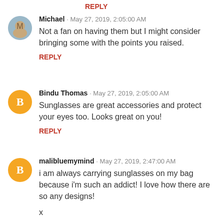REPLY
[Figure (photo): Profile photo of Michael, a person smiling]
Michael · May 27, 2019, 2:05:00 AM
Not a fan on having them but I might consider bringing some with the points you raised.
REPLY
[Figure (logo): Blogger orange circle logo icon with B]
Bindu Thomas · May 27, 2019, 2:05:00 AM
Sunglasses are great accessories and protect your eyes too. Looks great on you!
REPLY
[Figure (logo): Blogger orange circle logo icon with B]
malibluemymind · May 27, 2019, 2:47:00 AM
i am always carrying sunglasses on my bag because i'm such an addict! I love how there are so any designs!

x

malibluemymind